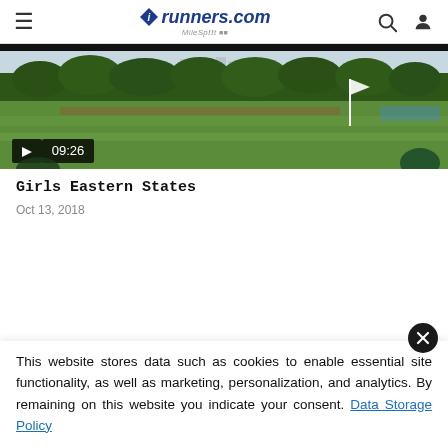iRunners.com MileSplit
[Figure (screenshot): Video thumbnail of a cross country race at Girls Eastern States, showing a large grass field with trees and buildings in background, with a play button overlay showing duration 09:26]
Girls Eastern States
Oct 13, 2018
This website stores data such as cookies to enable essential site functionality, as well as marketing, personalization, and analytics. By remaining on this website you indicate your consent. Data Storage Policy